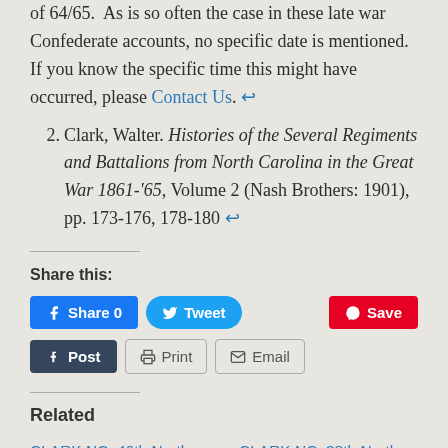of 64/65. As is so often the case in these late war Confederate accounts, no specific date is mentioned. If you know the specific time this might have occurred, please Contact Us. ←
2. Clark, Walter. Histories of the Several Regiments and Battalions from North Carolina in the Great War 1861-'65, Volume 2 (Nash Brothers: 1901), pp. 173-176, 178-180 ←
Share this:
Share 0  Tweet  Save  Post  Print  Email
Related
CLARK NC: 46th North Carolina at the Siege of
CLARK NC: 38th North Carolina at the Siege of